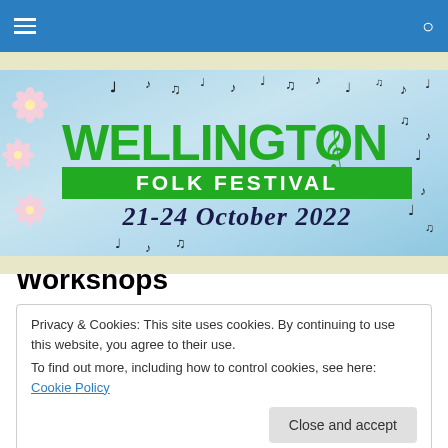[Figure (screenshot): Blue navigation bar with hamburger menu icon on left and search icon on right]
[Figure (logo): Wellington Folk Festival banner with green text on light blue watercolor background. Text reads 'WELLINGTON FOLK FESTIVAL 21-24 October 2022' with musical notes and pink flowers decoration.]
Workshops
Privacy & Cookies: This site uses cookies. By continuing to use this website, you agree to their use.
To find out more, including how to control cookies, see here: Cookie Policy
Close and accept